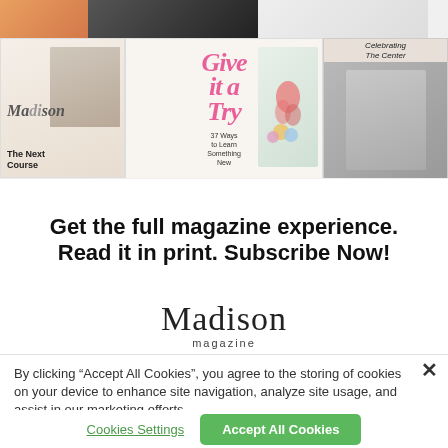[Figure (photo): Magazine covers and spreads collage including Madison magazine covers - one with a woman 'The Next Course', one spread with 'Give it a Try' text, and one with 'Celebrating The Center']
Get the full magazine experience. Read it in print. Subscribe Now!
[Figure (logo): Madison magazine logo - serif 'Madison' with 'magazine' below]
By clicking “Accept All Cookies”, you agree to the storing of cookies on your device to enhance site navigation, analyze site usage, and assist in our marketing efforts.
×
Cookies Settings
Accept All Cookies